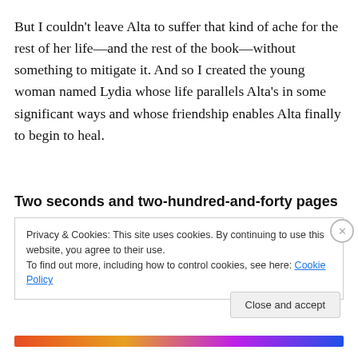But I couldn't leave Alta to suffer that kind of ache for the rest of her life—and the rest of the book—without something to mitigate it. And so I created the young woman named Lydia whose life parallels Alta's in some significant ways and whose friendship enables Alta finally to begin to heal.
Two seconds and two-hundred-and-forty pages
Privacy & Cookies: This site uses cookies. By continuing to use this website, you agree to their use.
To find out more, including how to control cookies, see here: Cookie Policy